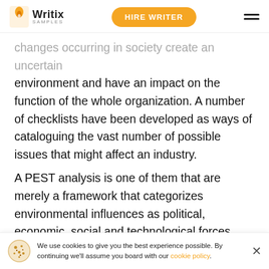Writix SAMPLES | HIRE WRITER
changes occurring in society create an uncertain environment and have an impact on the function of the whole organization. A number of checklists have been developed as ways of cataloguing the vast number of possible issues that might affect an industry.
A PEST analysis is one of them that are merely a framework that categorizes environmental influences as political, economic, social and technological forces. Sometimes two additional factors, environmental and legal, will be added to make a PESTEL analysis, but those themes can easi
We use cookies to give you the best experience possible. By continuing we'll assume you board with our cookie policy.